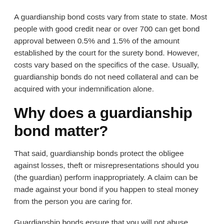A guardianship bond costs vary from state to state. Most people with good credit near or over 700 can get bond approval between 0.5% and 1.5% of the amount established by the court for the surety bond. However, costs vary based on the specifics of the case. Usually, guardianship bonds do not need collateral and can be acquired with your indemnification alone.
Why does a guardianship bond matter?
That said, guardianship bonds protect the obligee against losses, theft or misrepresentations should you (the guardian) perform inappropriately. A claim can be made against your bond if you happen to steal money from the person you are caring for.
Guardianship bonds ensure that you will not abuse, neglect, or